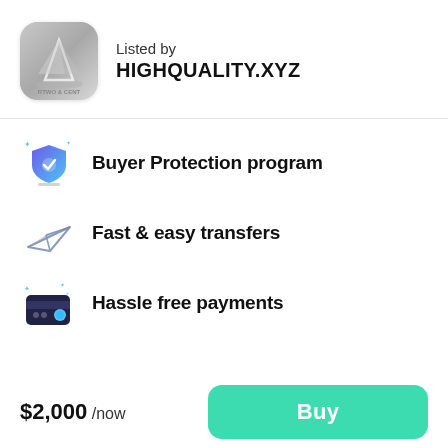[Figure (logo): App logo with grey rounded square background, showing a stylized figure and text RTWO & CENT]
Listed by
HIGHQUALITY.XYZ
Buyer Protection program
Fast & easy transfers
Hassle free payments
$2,000 /now
Buy